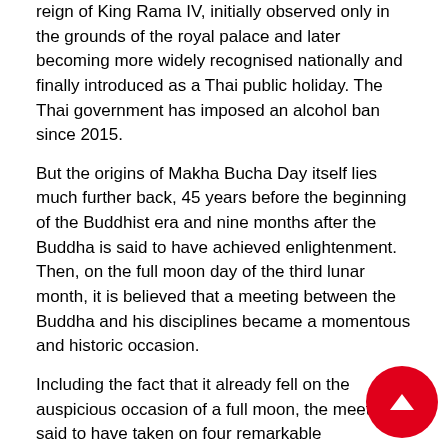reign of King Rama IV, initially observed only in the grounds of the royal palace and later becoming more widely recognised nationally and finally introduced as a Thai public holiday. The Thai government has imposed an alcohol ban since 2015.
But the origins of Makha Bucha Day itself lies much further back, 45 years before the beginning of the Buddhist era and nine months after the Buddha is said to have achieved enlightenment. Then, on the full moon day of the third lunar month, it is believed that a meeting between the Buddha and his disciplines became a momentous and historic occasion.
Including the fact that it already fell on the auspicious occasion of a full moon, the meeting is said to have taken on four remarkable characteristics that are still recounted in Buddhist teaching today:
1,250 disciples came to Buddha spontaneously
They were all enlightened disciples
They had each been directly ordained by Buddh…
It was the full moon day of the third lunar mon…